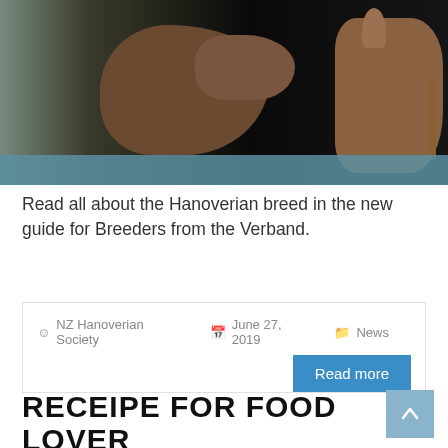[Figure (photo): A foal and a horse side by side against a dark background, with a teal/blue bar at the bottom of the image.]
Read all about the Hanoverian breed in the new guide for Breeders from the Verband.
NZ Hanoverian Society   June 27, 2019   News
Read more
RECEIPE FOR FOOD LOVER